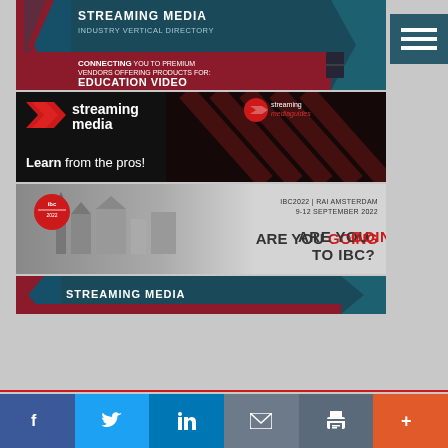[Figure (infographic): Streaming Media Industry Vertical Directory banner - teal/crimson design with text: STREAMING MEDIA, INDUSTRY VERTICAL DIRECTORY, CONNECTING YOU TO PREMIUM VENDORS OFFERING PRODUCTS FOR: EDUCATION VIDEO]
[Figure (infographic): Streaming Media / Streaming Media Guides banner - dark background with red diagonal stripes, logos and tagline: Learn from the pros!]
[Figure (infographic): IBC2022 RAI Amsterdam 9-12 September 2022 banner - grayscale city image on left, text: ARE YOU GOING TO IBC? with red IBC logo circle]
[Figure (infographic): Streaming Media bottom banner - teal/crimson design]
[Figure (infographic): Social sharing bar with Facebook, Twitter, LinkedIn, Email, Print, and More buttons]